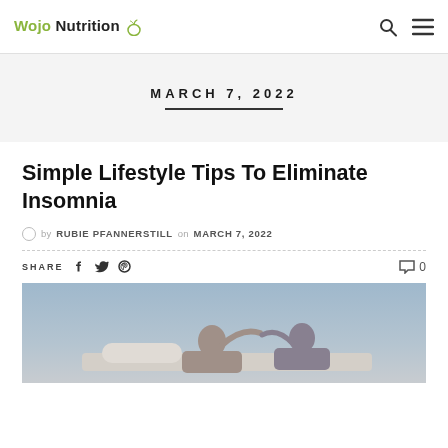Wojo Nutrition
MARCH 7, 2022
Simple Lifestyle Tips To Eliminate Insomnia
by RUBIE PFANNERSTILL on MARCH 7, 2022
SHARE 0
[Figure (photo): Photo of a person lying in bed, insomnia-related image]